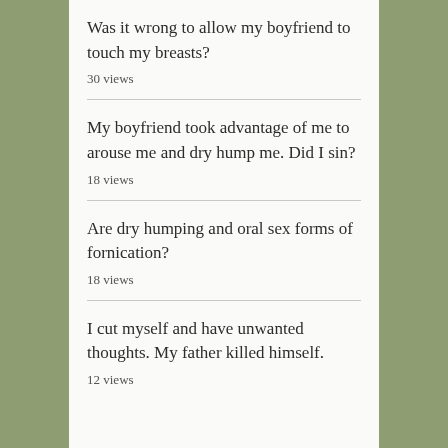Was it wrong to allow my boyfriend to touch my breasts?
30 views
My boyfriend took advantage of me to arouse me and dry hump me. Did I sin?
18 views
Are dry humping and oral sex forms of fornication?
18 views
I cut myself and have unwanted thoughts. My father killed himself.
12 views